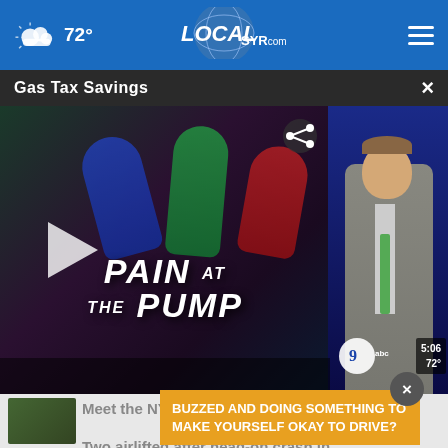72° LOCALsyr.com
Gas Tax Savings
[Figure (screenshot): TV news broadcast screenshot showing 'PAIN AT THE PUMP' text overlay with a news anchor on the right side, Channel 9 ABC logo, time 5:06 and temperature 72°, and a play button on the left]
Meet the NY-21 congressional
BUZZED AND DOING SOMETHING TO MAKE YOURSELF OKAY TO DRIVE?
Two airlifted after head-on crash in